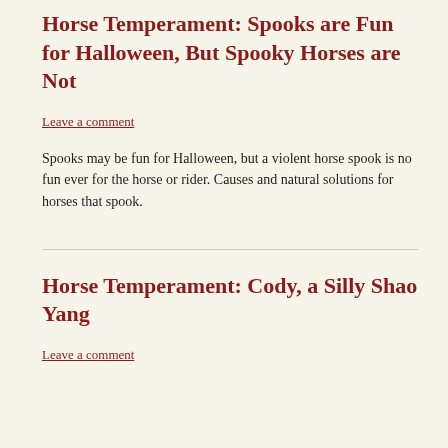Horse Temperament: Spooks are Fun for Halloween, But Spooky Horses are Not
Leave a comment
Spooks may be fun for Halloween, but a violent horse spook is no fun ever for the horse or rider. Causes and natural solutions for horses that spook.
Horse Temperament: Cody, a Silly Shao Yang
Leave a comment